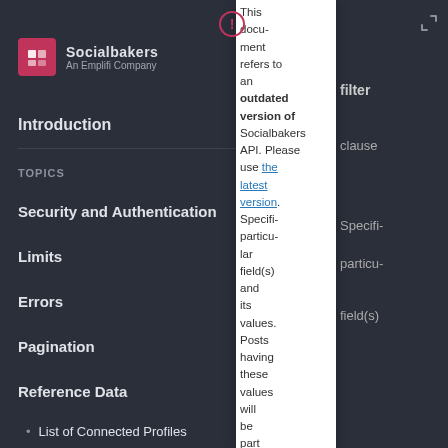Socialbakers — An Emplifi Company
Introduction
TOPICS
Security and Authentication
Limits
Errors
Pagination
Reference Data
List of Connected Profiles
This document refers to an outdated version of Socialbakers API. Please use the latest version. Specifies particular field(s) and its values. Posts having these values will be part of the results.